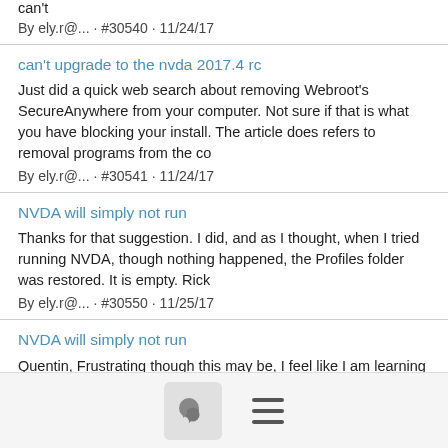can't
By ely.r@... · #30540 · 11/24/17
can't upgrade to the nvda 2017.4 rc
Just did a quick web search about removing Webroot's SecureAnywhere from your computer. Not sure if that is what you have blocking your install. The article does refers to removal programs from the co
By ely.r@... · #30541 · 11/24/17
NVDA will simply not run
Thanks for that suggestion. I did, and as I thought, when I tried running NVDA, though nothing happened, the Profiles folder was restored. It is empty. Rick
By ely.r@... · #30550 · 11/25/17
NVDA will simply not run
Quentin, Frustrating though this may be, I feel like I am learning things. I have attached what I think is the file you need. Resorted to doing a search for it and it seems to contain the kind of info